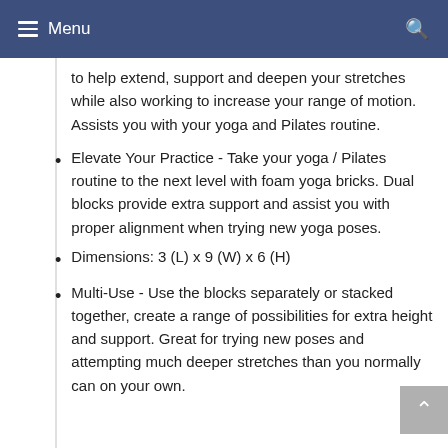Menu
to help extend, support and deepen your stretches while also working to increase your range of motion. Assists you with your yoga and Pilates routine.
Elevate Your Practice - Take your yoga / Pilates routine to the next level with foam yoga bricks. Dual blocks provide extra support and assist you with proper alignment when trying new yoga poses.
Dimensions: 3 (L) x 9 (W) x 6 (H)
Multi-Use - Use the blocks separately or stacked together, create a range of possibilities for extra height and support. Great for trying new poses and attempting much deeper stretches than you normally can on your own.